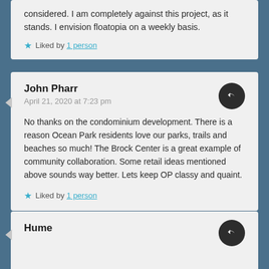considered. I am completely against this project, as it stands. I envision floatopia on a weekly basis.
Liked by 1 person
John Pharr
April 21, 2020 at 7:23 pm
No thanks on the condominium development. There is a reason Ocean Park residents love our parks, trails and beaches so much! The Brock Center is a great example of community collaboration. Some retail ideas mentioned above sounds way better. Lets keep OP classy and quaint.
Liked by 1 person
Hume